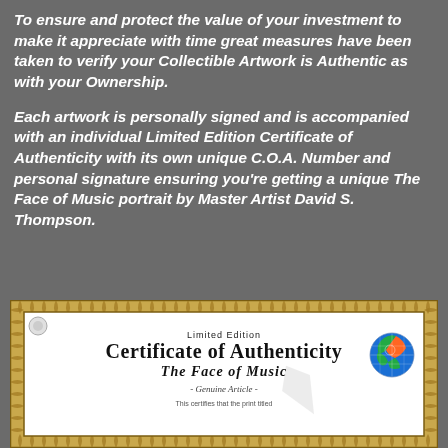To ensure and protect the value of your investment to make it appreciate with time great measures have been taken to verify your Collectible Artwork is Authentic as with your Ownership.
Each artwork is personally signed and is accompanied with an individual Limited Edition Certificate of Authenticity with its own unique C.O.A. Number and personal signature ensuring you're getting a unique The Face of Music portrait by Master Artist David S. Thompson.
[Figure (other): Limited Edition Certificate of Authenticity for 'The Face of Music' - Genuine Article. Shows decorative gold border, globe logo, and cursive/blackletter typography with watermark.]